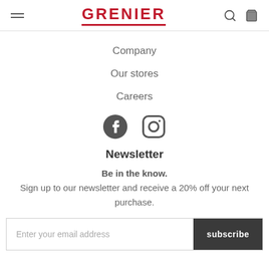GRENIER
Company
Our stores
Careers
[Figure (illustration): Facebook and Instagram social media icons]
Newsletter
Be in the know. Sign up to our newsletter and receive a 20% off your next purchase.